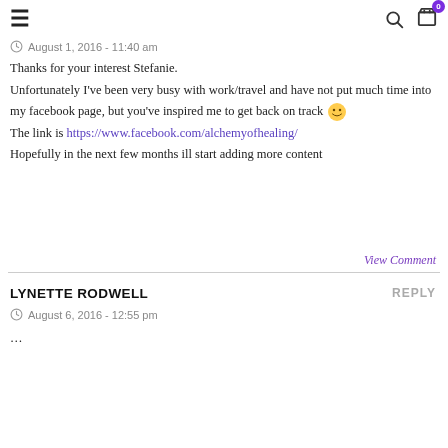≡  🔍 🛒 0
August 1, 2016 - 11:40 am
Thanks for your interest Stefanie.
Unfortunately I've been very busy with work/travel and have not put much time into my facebook page, but you've inspired me to get back on track 🙂
The link is https://www.facebook.com/alchemyofhealing/
Hopefully in the next few months ill start adding more content
View Comment
LYNETTE RODWELL
REPLY
August 6, 2016 - 12:55 pm
…